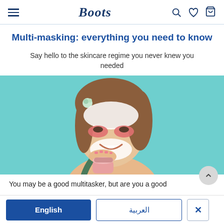Boots — navigation header with hamburger menu, Boots logo, search, wishlist, and basket icons
Multi-masking: everything you need to know
Say hello to the skincare regime you never knew you needed
[Figure (photo): Woman smiling with multi-masking skincare products applied to her face — white clay mask on forehead and chin, pink/red eye patches under eyes — against teal/mint background, holding a small jar of product]
You may be a good multitasker, but are you a good
English | العربية | X (language selection bar)